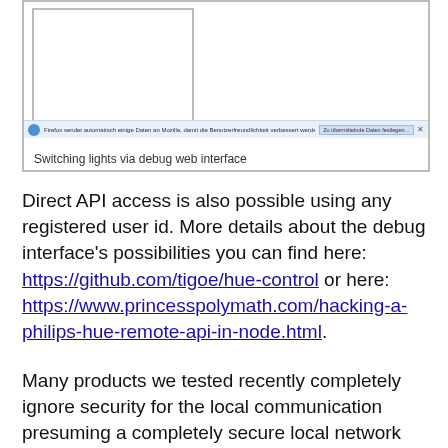[Figure (screenshot): Screenshot of a browser window showing a Firefox notification bar with German text about sending data to Mozilla, and a caption 'Switching lights via debug web interface']
Switching lights via debug web interface
Direct API access is also possible using any registered user id. More details about the debug interface's possibilities you can find here: https://github.com/tigoe/hue-control or here: https://www.princesspolymath.com/hacking-a-philips-hue-remote-api-in-node.html.
Many products we tested recently completely ignore security for the local communication presuming a completely secure local network their product is integrated in.  But even with this assumption in mind one